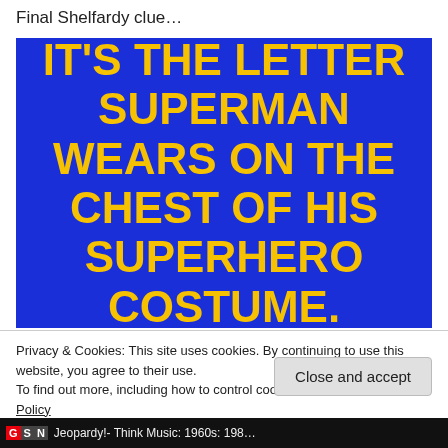Final Shelfardy clue…
[Figure (photo): Blue background image with bold yellow text reading: IT'S THE LETTER SUPERMAN WEARS ON THE CHEST OF HIS SUPERHERO COSTUME.]
Privacy & Cookies: This site uses cookies. By continuing to use this website, you agree to their use.
To find out more, including how to control cookies, see here: Cookie Policy
Close and accept
GSN  Jeopardy!- Think Music: 1960s: 198…